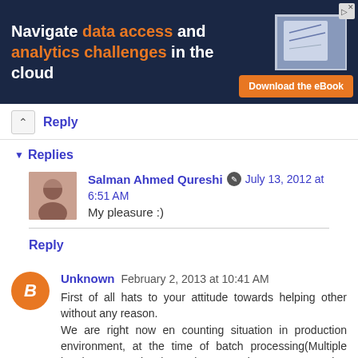[Figure (screenshot): Advertisement banner: Navigate data access and analytics challenges in the cloud. Download the eBook. TO INCREASE text visible.]
Reply
▼ Replies
Salman Ahmed Qureshi ✏ July 13, 2012 at 6:51 AM
My pleasure :)
Reply
Unknown  February 2, 2013 at 10:41 AM
First of all hats to your attitude towards helping other without any reason.
We are right now en counting situation in production environment, at the time of batch processing(Multiple batch DB sessions) running someday we are getting ORA-01013: user requested cancel of current operation error.